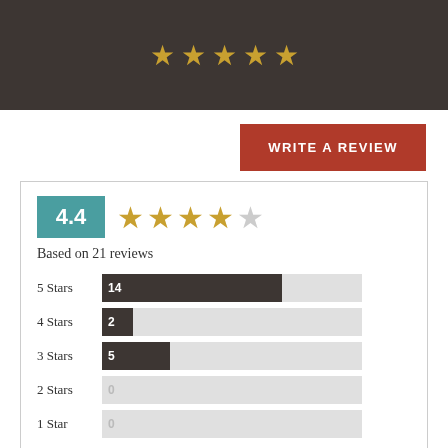[Figure (other): Dark header bar with 5 gold star icons]
WRITE A REVIEW
[Figure (bar-chart): Rating summary: 4.4 based on 21 reviews]
Based on 21 reviews
[Figure (other): Bottom snippet with teal badge showing percentage]